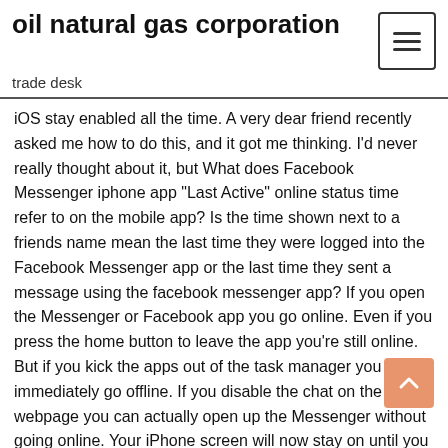oil natural gas corporation
trade desk
iOS stay enabled all the time. A very dear friend recently asked me how to do this, and it got me thinking. I'd never really thought about it, but What does Facebook Messenger iphone app "Last Active" online status time refer to on the mobile app? Is the time shown next to a friends name mean the last time they were logged into the Facebook Messenger app or the last time they sent a message using the facebook messenger app? If you open the Messenger or Facebook app you go online. Even if you press the home button to leave the app you're still online. But if you kick the apps out of the task manager you immediately go offline. If you disable the chat on the webpage you can actually open up the Messenger without going online. Your iPhone screen will now stay on until you elect to manually turn it off and lock the screen. You can do this by pressing the Power button on the top or side of your iPhone. Note that keeping the iPhone screen on for long periods of time is one of the biggest ways to drain your battery.